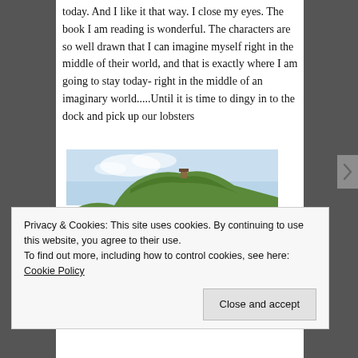today. And I like it that way. I close my eyes. The book I am reading is wonderful. The characters are so well drawn that I can imagine myself right in the middle of their world, and that is exactly where I am going to stay today- right in the middle of an imaginary world.....Until it is time to dingy in to the dock and pick up our lobsters
[Figure (photo): Coastal landscape photo showing green grassy hillside with rocky shoreline, turquoise water, and a small structure atop the hill under a partly cloudy sky.]
Privacy & Cookies: This site uses cookies. By continuing to use this website, you agree to their use.
To find out more, including how to control cookies, see here: Cookie Policy
Close and accept